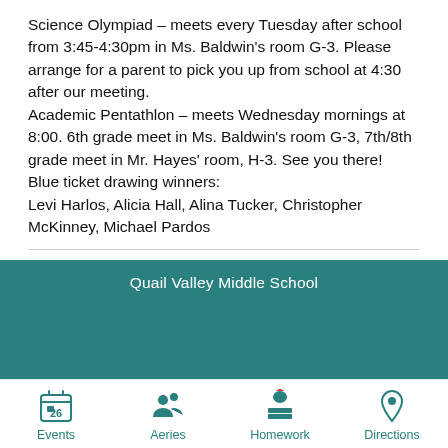Science Olympiad – meets every Tuesday after school from 3:45-4:30pm in Ms. Baldwin's room G-3. Please arrange for a parent to pick you up from school at 4:30 after our meeting.
Academic Pentathlon – meets Wednesday mornings at 8:00. 6th grade meet in Ms. Baldwin's room G-3, 7th/8th grade meet in Mr. Hayes' room, H-3. See you there!
Blue ticket drawing winners:
Levi Harlos, Alicia Hall, Alina Tucker, Christopher McKinney, Michael Pardos
Published December 6, 2019
Print
Tweet
Quail Valley Middle School
Events | Aeries | Homework | Directions